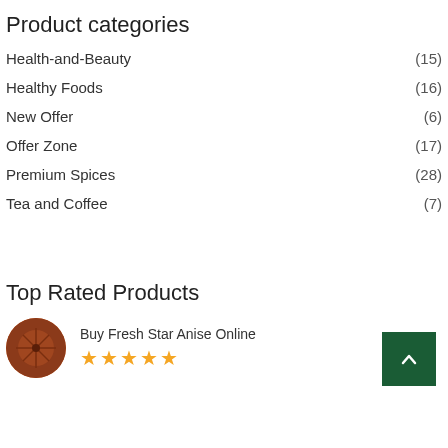Product categories
Health-and-Beauty (15)
Healthy Foods (16)
New Offer (6)
Offer Zone (17)
Premium Spices (28)
Tea and Coffee (7)
Top Rated Products
Buy Fresh Star Anise Online